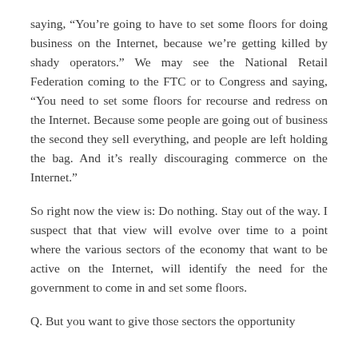saying, “You’re going to have to set some floors for doing business on the Internet, because we’re getting killed by shady operators.” We may see the National Retail Federation coming to the FTC or to Congress and saying, “You need to set some floors for recourse and redress on the Internet. Because some people are going out of business the second they sell everything, and people are left holding the bag. And it’s really discouraging commerce on the Internet.”
So right now the view is: Do nothing. Stay out of the way. I suspect that that view will evolve over time to a point where the various sectors of the economy that want to be active on the Internet, will identify the need for the government to come in and set some floors.
Q. But you want to give those sectors the opportunity